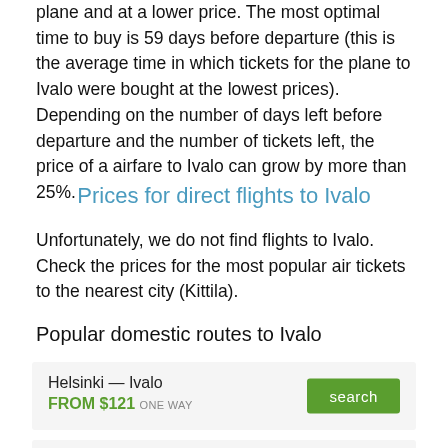plane and at a lower price. The most optimal time to buy is 59 days before departure (this is the average time in which tickets for the plane to Ivalo were bought at the lowest prices). Depending on the number of days left before departure and the number of tickets left, the price of a airfare to Ivalo can grow by more than 25%.
Prices for direct flights to Ivalo
Unfortunately, we do not find flights to Ivalo. Check the prices for the most popular air tickets to the nearest city (Kittila).
Popular domestic routes to Ivalo
| Route | Price | Type | Action |
| --- | --- | --- | --- |
| Helsinki — Ivalo | FROM $121 | ONE WAY | search |
| Rovaniemi — Ivalo | FROM $425 | ROUND-TRIP | search |